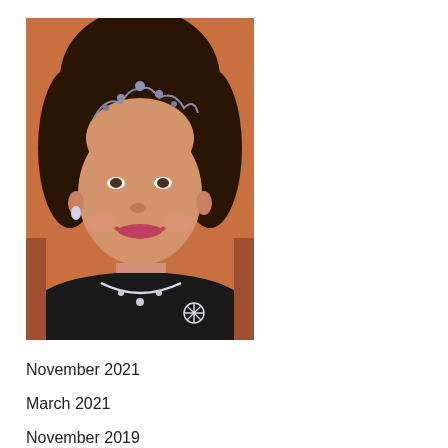[Figure (photo): Portrait photo of a woman with dark curly hair wearing a jeweled tiara/crown, diamond necklace, black top with a snowflake brooch, smiling at the camera. Warm orange/brown background.]
November 2021
March 2021
November 2019
October 2019